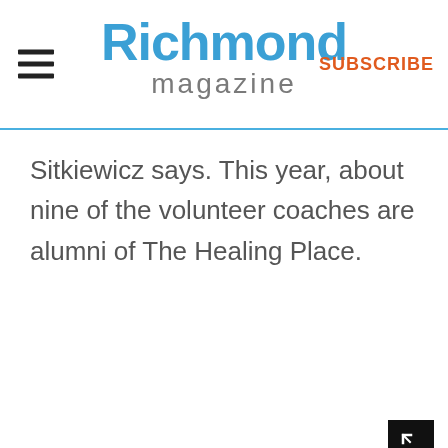Richmond magazine | SUBSCRIBE
Sitkiewicz says. This year, about nine of the volunteer coaches are alumni of The Healing Place.
[Figure (other): Fullscreen/expand icon button — black square with a corner bracket symbol in white]